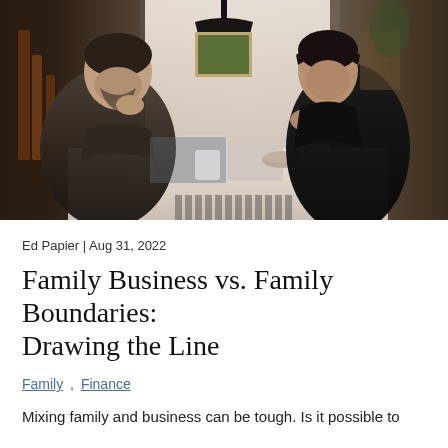[Figure (photo): A man and a woman sitting across from each other at a white kitchen table, both in thoughtful poses. The man (left) wears a dark sweater and sits with his hand near his chin, a laptop and white mug on the table. The woman (right) wears all black and leans on the table with her hands clasped, looking across at the man. A pendant lamp hangs overhead. Kitchen background visible.]
Ed Papier | Aug 31, 2022
Family Business vs. Family Boundaries: Drawing the Line
Family , Finance
Mixing family and business can be tough. Is it possible to